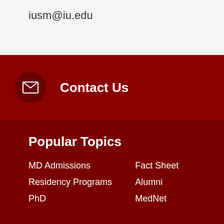iusm@iu.edu
Contact Us
Popular Topics
MD Admissions
Fact Sheet
Residency Programs
Alumni
PhD
MedNet
Contact
Indiana University School of Medicine